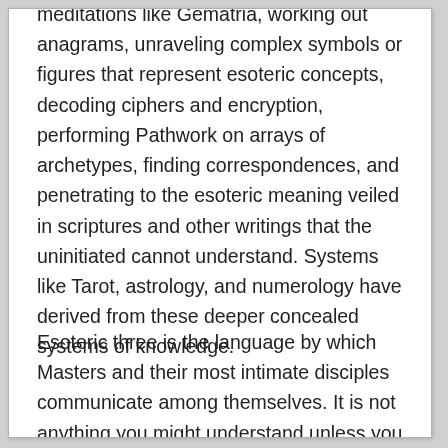meditations like Gematria, working out anagrams, unraveling complex symbols or figures that represent esoteric concepts, decoding ciphers and encryption, performing Pathwork on arrays of archetypes, finding correspondences, and penetrating to the esoteric meaning veiled in scriptures and other writings that the uninitiated cannot understand. Systems like Tarot, astrology, and numerology have derived from these deeper concealed systems of knowledge.
Esoteric three is the language by which Masters and their most intimate disciples communicate among themselves. It is not anything you might understand unless you